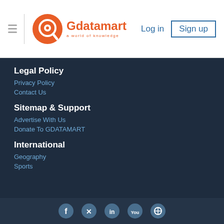Gdatamart — a world of knowledge | Log in | Sign up
Legal Policy
Privacy Policy
Contact Us
Sitemap & Support
Advertise With Us
Donate To GDATAMART
International
Geography
Sports
Social media icons: Facebook, Twitter, LinkedIn, YouTube, another icon